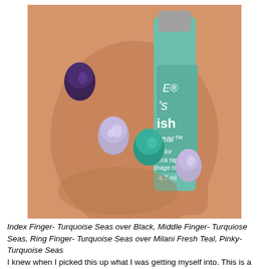[Figure (photo): Close-up photo of a hand holding a nail polish bottle. Fingernails are painted in various shades: index finger in dark purple/black, middle finger in shimmery lavender/silver, ring finger in teal/turquoise, and pinky in shimmery lavender/silver. The nail polish bottle label partially visible reads 'ish wear' with '4,7 ml'.]
Index Finger- Turquoise Seas over Black, Middle Finger- Turquiose Seas, Ring Finger- Turquoise Seas over Milani Fresh Teal, Pinky-Turquoise Seas
I knew when I picked this up what I was getting myself into. This is a sheer duochrome. I couldn't pass it up though. It's